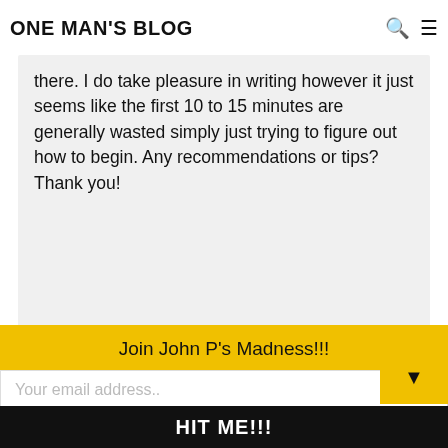ONE MAN'S BLOG
there. I do take pleasure in writing however it just seems like the first 10 to 15 minutes are generally wasted simply just trying to figure out how to begin. Any recommendations or tips? Thank you!
JITENDRA says
Join John P's Madness!!!
Your email address..
HIT ME!!!